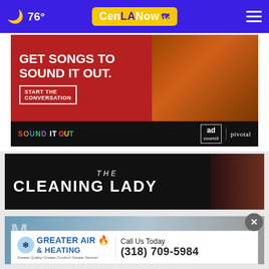76° CenLANow
[Figure (screenshot): Ad: Sound It Out campaign – GET SONGS TO SOUND IT OUT. START THE CONVERSATION. Ad Council | Pivotal Ventures branding.]
[Figure (screenshot): TV show banner: THE CLEANING LADY]
[Figure (screenshot): Ad: Greater Air & Heating – Call Us Today (318) 709-5984]